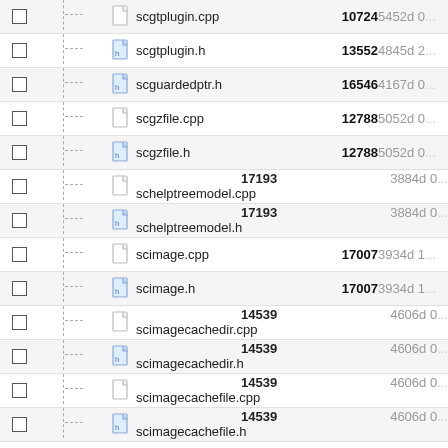|  |  |  | Name | Size | Age |
| --- | --- | --- | --- | --- | --- |
| ☐ | tree | file | scgtplugin.cpp | 10724 | 5452d 0... |
| ☐ | tree | h-file | scgtplugin.h | 13552 | 4845d 2... |
| ☐ | tree | h-file | scguardedptr.h | 16546 | 4167d 0... |
| ☐ | tree | file | scgzfile.cpp | 12788 | 5052d 0... |
| ☐ | tree | h-file | scgzfile.h | 12788 | 5052d 0... |
| ☐ | tree | file | schelptreemodel.cpp | 17193 | 3884d 0... |
| ☐ | tree | h-file | schelptreemodel.h | 17193 | 3884d 0... |
| ☐ | tree | file | scimage.cpp | 17007 | 3934d 1... |
| ☐ | tree | h-file | scimage.h | 17007 | 3934d 1... |
| ☐ | tree | file | scimagecachedir.cpp | 14539 | 4606d 0... |
| ☐ | tree | h-file | scimagecachedir.h | 14539 | 4606d 0... |
| ☐ | tree | file | scimagecachefile.cpp | 14539 | 4606d 0... |
| ☐ | tree | h-file | scimagecachefile.h | 14539 | 4606d 0... |